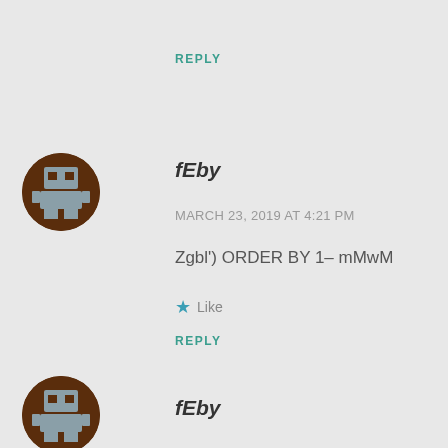REPLY
[Figure (illustration): Round avatar icon with brown background and grey pixel-art character]
fEby
MARCH 23, 2019 AT 4:21 PM
Zgbl') ORDER BY 1– mMwM
Like
REPLY
[Figure (illustration): Round avatar icon with brown background and grey pixel-art character]
fEby